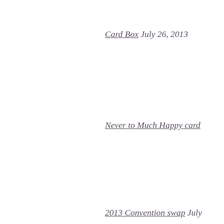Card Box July 26, 2013
Never to Much Happy card
2013 Convention swap July
Simply Fabulous July 18, 20
Thoughtful YOU July 12, 20
July 2013 Thank you July 5